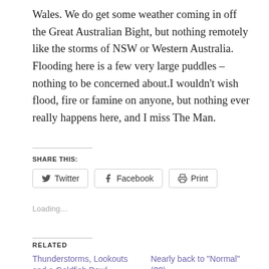Wales. We do get some weather coming in off the Great Australian Bight, but nothing remotely like the storms of NSW or Western Australia. Flooding here is a few very large puddles – nothing to be concerned about.I wouldn't wish flood, fire or famine on anyone, but nothing ever really happens here, and I miss The Man.
SHARE THIS:
[Figure (other): Share buttons for Twitter, Facebook, and Print]
Loading...
RELATED
Thunderstorms, Lookouts and a Goldfish Bowl
May 23, 2015
Nearly back to "Normal" (??)
April 11, 2015